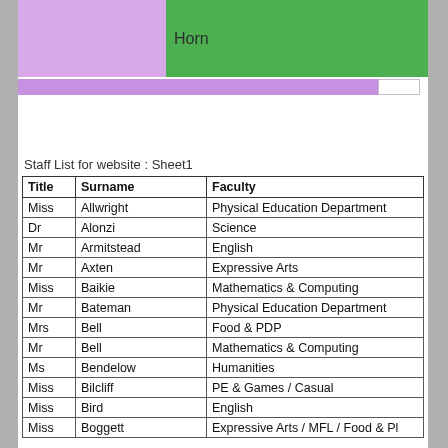[Figure (other): Colored block header with purple block on left, green block with text 'Horn' in middle, and green block on right]
[Figure (other): Horizontal purple color bar with white box on right end]
Staff List for website : Sheet1
| Title | Surname | Faculty |
| --- | --- | --- |
| Miss | Allwright | Physical Education Department |
| Dr | Alonzi | Science |
| Mr | Armitstead | English |
| Mr | Axten | Expressive Arts |
| Miss | Baikie | Mathematics & Computing |
| Mr | Bateman | Physical Education Department |
| Mrs | Bell | Food & PDP |
| Mr | Bell | Mathematics & Computing |
| Ms | Bendelow | Humanities |
| Miss | Bilcliff | PE & Games / Casual |
| Miss | Bird | English |
| Miss | Boggett | Expressive Arts / MFL / Food & Pl |